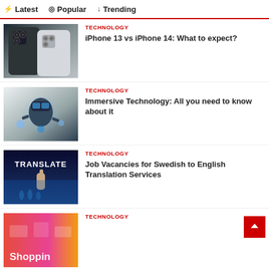Latest | Popular | Trending
[Figure (photo): Two iPhones side by side showing cameras]
TECHNOLOGY
iPhone 13 vs iPhone 14: What to expect?
[Figure (photo): Person wearing VR headset holding controllers with futuristic drones]
TECHNOLOGY
Immersive Technology: All you need to know about it
[Figure (photo): Translate concept image with finger pointing at word TRANSLATE on blue background]
TECHNOLOGY
Job Vacancies for Swedish to English Translation Services
[Figure (photo): Shopping concept image with pink/red background]
TECHNOLOGY